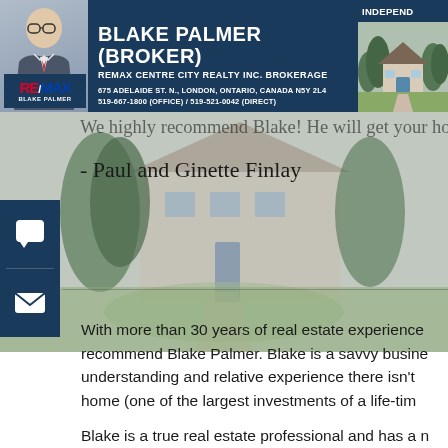BLAKE PALMER (BROKER) | REMAX CENTRE CITY REALTY INC. BROKERAGE | 675 ADELAIDE ST. N., LONDON, ONTARIO, CANADA N5Y 2L4 | 519-667-1800 (OFFICE) / 519-521-0042 (DIRECT) | INDEPEND...
We highly recommend Blake! He will get your ho...
- Paul and Ginette Finlay
With more than 30 years of real estate experience... recommend Blake Palmer. Blake is a savvy busine... understanding and relative experience there isn't... home (one of the largest investments of a life-tim...
Blake is a true real estate professional and has a n... expectations and without hesitation I would high...